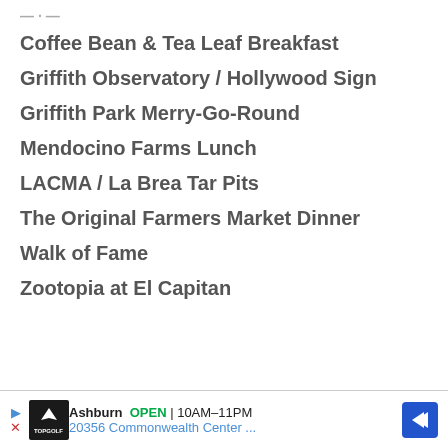Coffee Bean & Tea Leaf Breakfast
Griffith Observatory / Hollywood Sign
Griffith Park Merry-Go-Round
Mendocino Farms Lunch
LACMA / La Brea Tar Pits
The Original Farmers Market Dinner
Walk of Fame
Zootopia at El Capitan
[Figure (other): Topgolf advertisement banner: Ashburn OPEN 10AM-11PM, 20356 Commonwealth Center ..., with Topgolf logo and navigation arrow]